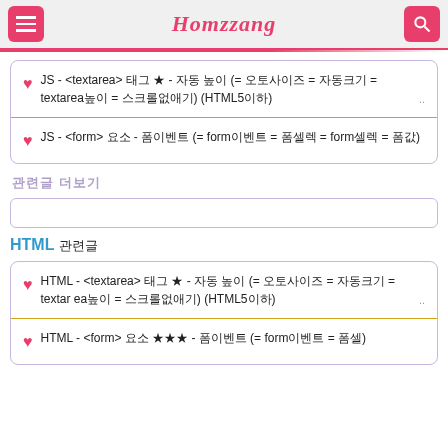Homzzang
JS - <textarea> 태그 ★ - 자동 높이 (= 오토사이즈 = 자동크기 = textarea높이 = 스크롤없애기) (HTML5이하)
JS - <form> 요소 - 폼이벤트 (= form이벤트 = 폼셀렉 = form셀렉 = 폼값)
관련글 더보기
HTML 관련글
HTML - <textarea> 태그 ★ - 자동 높이 (= 오토사이즈 = 자동크기 = textarea높이 = 스크롤없애기) (HTML5이하)
HTML - <form> 요소 ★★★ - 폼이벤트 (= form이벤트 = 폼셀)